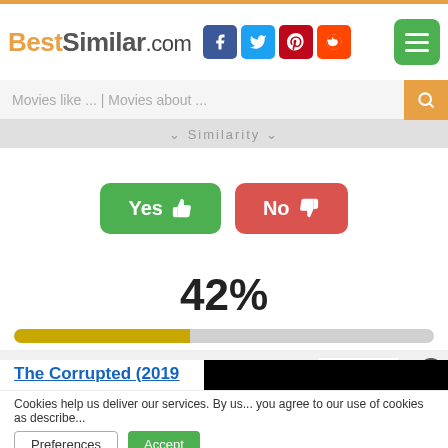BestSimilar.com [social icons: Facebook, Twitter, Pinterest, Reddit] [menu button]
Movies like ... | Movies about ...
Similarity
[Figure (infographic): Yes (thumbs up, green button) and No (thumbs down, red button) voting buttons]
42%
[Figure (infographic): Progress bar showing 42% filled in yellow/gold on grey background]
The Corrupted (2019)
5.7
Cookies help us deliver our services. By us... you agree to our use of cookies as describe...
Preferences    Accept